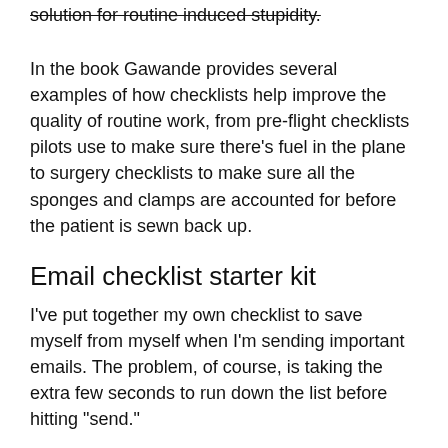solution for routine induced stupidity.
In the book Gawande provides several examples of how checklists help improve the quality of routine work, from pre-flight checklists pilots use to make sure there's fuel in the plane to surgery checklists to make sure all the sponges and clamps are accounted for before the patient is sewn back up.
Email checklist starter kit
I’ve put together my own checklist to save myself from myself when I’m sending important emails. The problem, of course, is taking the extra few seconds to run down the list before hitting “send.”
1. Check the names of all email recipients. Is the